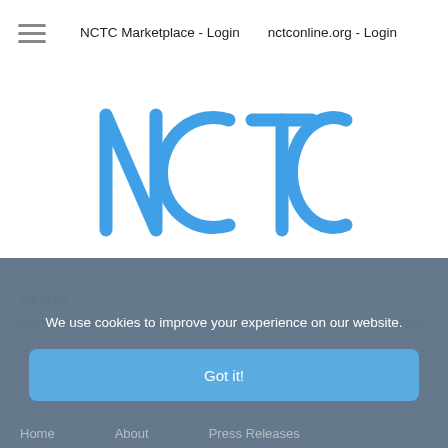NCTC Marketplace - Login    nctconline.org - Login
[Figure (logo): NCTC logo in blue outlined style with thick rounded letterforms spelling NCTC]
Search ...
We use cookies to improve your experience on our website.
Got it!
Home    About    Press Releases